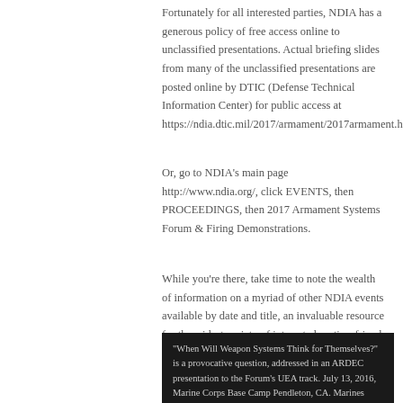Fortunately for all interested parties, NDIA has a generous policy of free access online to unclassified presentations. Actual briefing slides from many of the unclassified presentations are posted online by DTIC (Defense Technical Information Center) for public access at https://ndia.dtic.mil/2017/armament/2017armament.html.
Or, go to NDIA's main page http://www.ndia.org/, click EVENTS, then PROCEEDINGS, then 2017 Armament Systems Forum & Firing Demonstrations.
While you're there, take time to note the wealth of information on a myriad of other NDIA events available by date and title, an invaluable resource for the widest variety of interested parties–friend and foe alike.
"When Will Weapon Systems Think for Themselves?" is a provocative question, addressed in an ARDEC presentation to the Forum's UEA track. July 13, 2016, Marine Corps Base Camp Pendleton, CA. Marines with 3rd Battalion, 5th Marine Regiment prepare a Weaponized Multi-Utility Tactical Transport vehicle for a patrol. The system, built by the Marine Corps Warfighting Laboratory, is a multifunction force